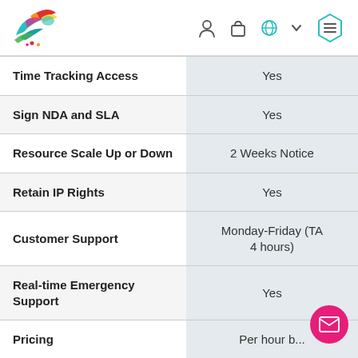[Figure (logo): Colorful bird/dove logo with teal, orange, red and yellow feathers]
| Feature | Value |
| --- | --- |
| Time Tracking Access | Yes |
| Sign NDA and SLA | Yes |
| Resource Scale Up or Down | 2 Weeks Notice |
| Retain IP Rights | Yes |
| Customer Support | Monday-Friday (TA 4 hours) |
| Real-time Emergency Support | Yes |
| Pricing | Per hour b... |